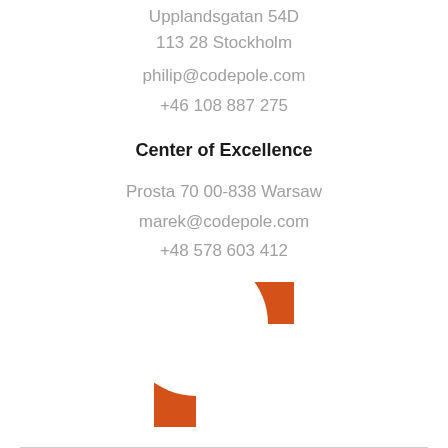Upplandsgatan 54D
113 28 Stockholm
philip@codepole.com
+46 108 887 275
Center of Excellence
Prosta 70 00-838 Warsaw
marek@codepole.com
+48 578 603 412
[Figure (logo): Codepole orange logo mark — an angular 'r' or bracket shape in orange/rust color, consisting of a horizontal bar at top-right and a vertical bar on the left with a curved corner cut-out at bottom-right]